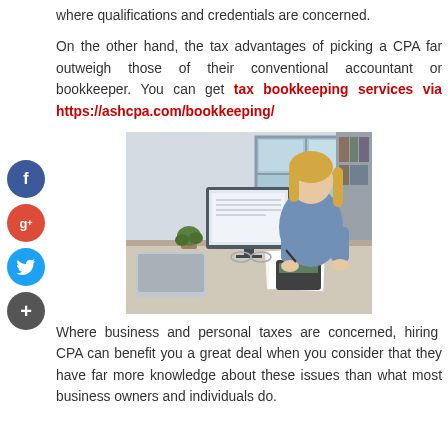where qualifications and credentials are concerned.
On the other hand, the tax advantages of picking a CPA far outweigh those of their conventional accountant or bookkeeper. You can get tax bookkeeping services via https://ashcpa.com/bookkeeping/
[Figure (photo): A woman sitting at a desk working with a laptop, desktop monitor showing documents, binders on shelves in background, writing on papers, office environment]
Where business and personal taxes are concerned, hiring CPA can benefit you a great deal when you consider that they have far more knowledge about these issues than what most business owners and individuals do.